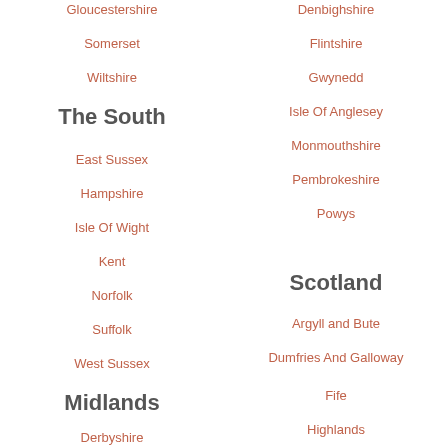Gloucestershire
Somerset
Wiltshire
The South
East Sussex
Hampshire
Isle Of Wight
Kent
Norfolk
Suffolk
West Sussex
Midlands
Derbyshire
Denbighshire
Flintshire
Gwynedd
Isle Of Anglesey
Monmouthshire
Pembrokeshire
Powys
Scotland
Argyll and Bute
Dumfries And Galloway
Fife
Highlands